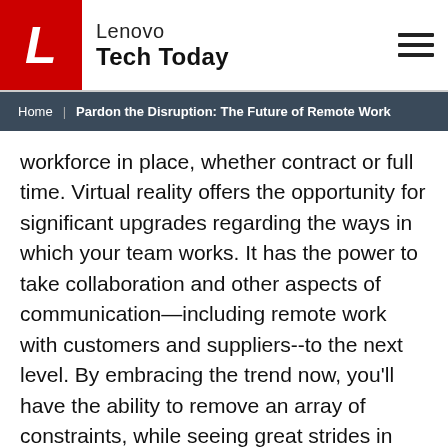Lenovo Tech Today
Home | Pardon the Disruption: The Future of Remote Work
workforce in place, whether contract or full time. Virtual reality offers the opportunity for significant upgrades regarding the ways in which your team works. It has the power to take collaboration and other aspects of communication—including remote work with customers and suppliers--to the next level. By embracing the trend now, you'll have the ability to remove an array of constraints, while seeing great strides in productivity for your company.